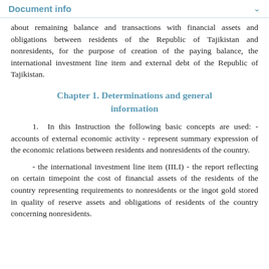Document info
about remaining balance and transactions with financial assets and obligations between residents of the Republic of Tajikistan and nonresidents, for the purpose of creation of the paying balance, the international investment line item and external debt of the Republic of Tajikistan.
Chapter 1. Determinations and general information
1.  In this Instruction the following basic concepts are used: - accounts of external economic activity - represent summary expression of the economic relations between residents and nonresidents of the country.
- the international investment line item (IILI) - the report reflecting on certain timepoint the cost of financial assets of the residents of the country representing requirements to nonresidents or the ingot gold stored in quality of reserve assets and obligations of residents of the country concerning nonresidents.